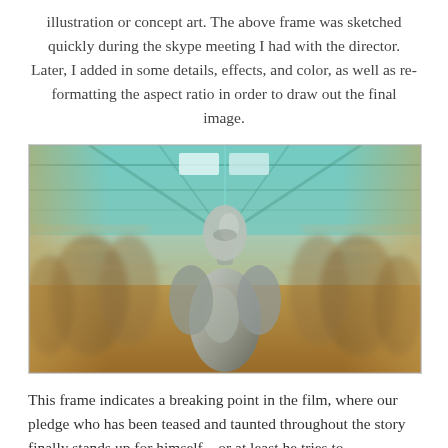illustration or concept art. The above frame was sketched quickly during the skype meeting I had with the director. Later, I added in some details, effects, and color, as well as re-formatting the aspect ratio in order to draw out the final image.
[Figure (illustration): Concept art illustration showing a figure (appearing robotic or silver-skinned) standing in a corridor or hallway with motion blur effects, teal/blue lighting above and warm golden tones below, surrounded by blurred crowd figures.]
This frame indicates a breaking point in the film, where our pledge who has been teased and taunted throughout the story finally stands up for himself... or at least he tries to.
Slowly the first he looks down on him. He knows that